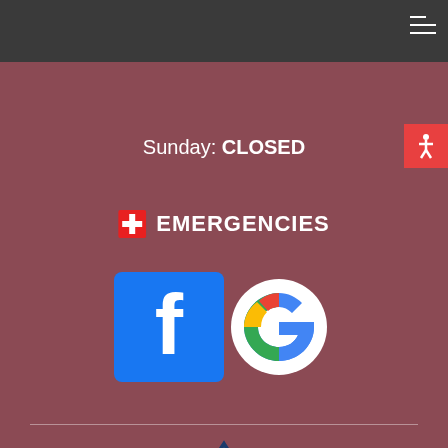Sunday: CLOSED
EMERGENCIES
[Figure (logo): Facebook and Google social media icons side by side]
[Figure (logo): VIN Member 2022 badge - triangular white and navy badge]
[Figure (logo): AVMA logo - partial, green and blue]